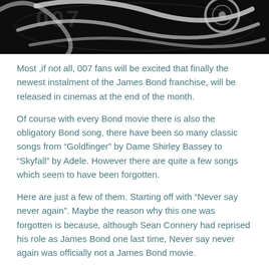[Figure (illustration): Dark black background with white swirling James Bond gun barrel style graphic design elements visible at top of image.]
Most ,if not all, 007 fans will be excited that finally the newest instalment of the James Bond franchise, will be released in cinemas at the end of the month.
Of course with every Bond movie there is also the obligatory Bond song, there have been so many classic songs from “Goldfinger” by Dame Shirley Bassey to “Skyfall” by Adele. However there are quite a few songs which seem to have been forgotten.
Here are just a few of them. Starting off with “Never say never again”. Maybe the reason why this one was forgotten is because, although Sean Connery had reprised his role as James Bond one last time, Never say never again was officially not a James Bond movie.